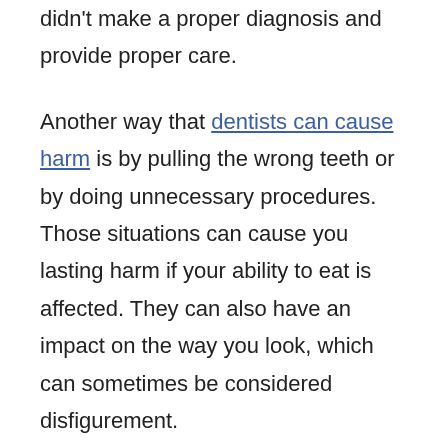didn't make a proper diagnosis and provide proper care.
Another way that dentists can cause harm is by pulling the wrong teeth or by doing unnecessary procedures. Those situations can cause you lasting harm if your ability to eat is affected. They can also have an impact on the way you look, which can sometimes be considered disfigurement.
Just as medical professionals are bound by standards of care, dentists are too. When your dentist doesn't provide care that is up to the